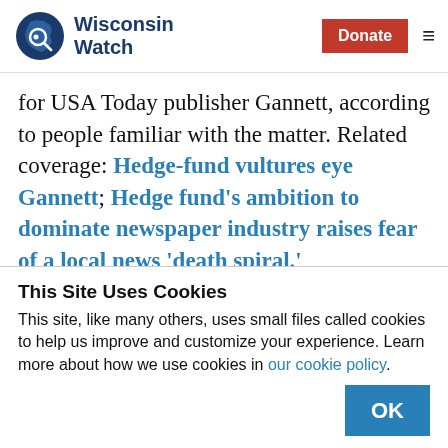Wisconsin Watch
for USA Today publisher Gannett, according to people familiar with the matter. Related coverage: Hedge-fund vultures eye Gannett; Hedge fund’s ambition to dominate newspaper industry raises fear of a local news ‘death spiral.’
This Site Uses Cookies
This site, like many others, uses small files called cookies to help us improve and customize your experience. Learn more about how we use cookies in our cookie policy.